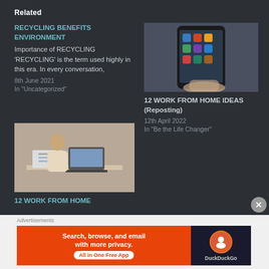Related
RECYCLING BENEFITS ENVIRONMENT
Importance of RECYCLING 'RECYCLING' is the term used highly in this era. In every conversation,
8th June 2021
In "Uncategorized"
[Figure (photo): Hand holding a smartphone showing app icons on screen]
12 WORK FROM HOME IDEAS (Reposting)
12th April 2022
In "Be the Life Changer"
[Figure (photo): Person working from home at a desk with laptop and papers]
12 WORK FROM HOME
[Figure (other): DuckDuckGo advertisement banner: Search, browse, and email with more privacy. All in One Free App]